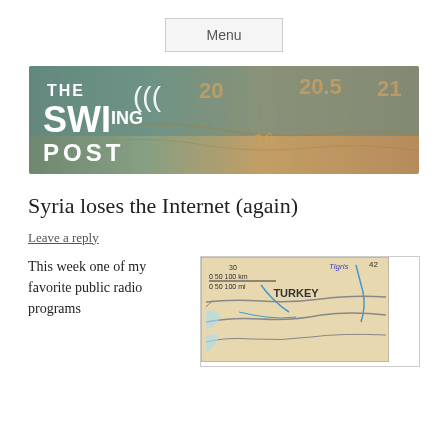Menu
[Figure (photo): The Swinging Post banner image showing a vintage radio dial with a world map background and white stylized text THE SWIng POST]
Syria loses the Internet (again)
Leave a reply
This week one of my favorite public radio programs
[Figure (map): Map showing Turkey region with scale bar (0 50 100 km, 0 50 100 mi) and Tigris river label, number 42 visible, blue rivers on tan background]